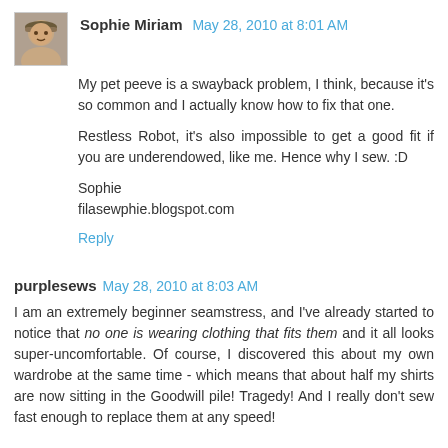[Figure (photo): Avatar photo of Sophie Miriam - woman with hat]
Sophie Miriam May 28, 2010 at 8:01 AM
My pet peeve is a swayback problem, I think, because it's so common and I actually know how to fix that one.

Restless Robot, it's also impossible to get a good fit if you are underendowed, like me. Hence why I sew. :D

Sophie
filasewphie.blogspot.com
Reply
purplesews May 28, 2010 at 8:03 AM
I am an extremely beginner seamstress, and I've already started to notice that no one is wearing clothing that fits them and it all looks super-uncomfortable. Of course, I discovered this about my own wardrobe at the same time - which means that about half my shirts are now sitting in the Goodwill pile! Tragedy! And I really don't sew fast enough to replace them at any speed!